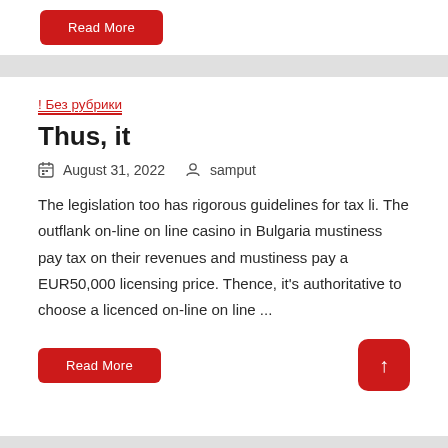Read More
! Без рубрики
Thus, it
August 31, 2022  samput
The legislation too has rigorous guidelines for tax li. The outflank on-line on line casino in Bulgaria mustiness pay tax on their revenues and mustiness pay a EUR50,000 licensing price. Thence, it's authoritative to choose a licenced on-line on line ...
Read More